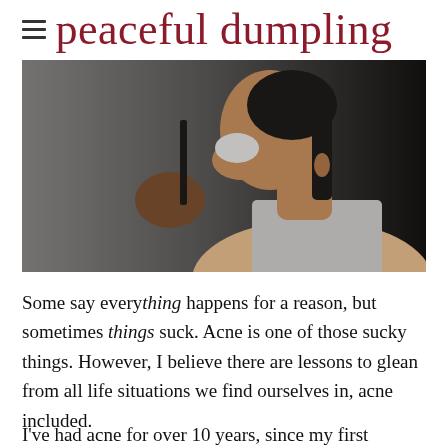peaceful dumpling
[Figure (photo): A dark, moody photo of a person in profile holding a pencil/eyeliner near their face, wearing a white tank top, with dark hair. The image has high contrast and a grey/dark background.]
Some say everything happens for a reason, but sometimes things suck. Acne is one of those sucky things. However, I believe there are lessons to glean from all life situations we find ourselves in, acne included.
I've had acne for over 10 years, since my first